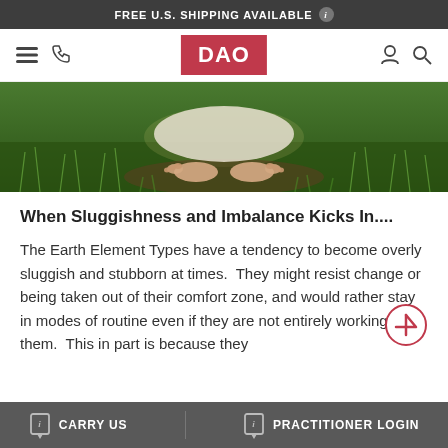FREE U.S. SHIPPING AVAILABLE
[Figure (screenshot): Website navigation bar with hamburger menu, phone icon, DAO logo in red, user icon and search icon]
[Figure (photo): Bare feet on grass, close-up from above showing a person crouching or sitting on green grass]
When Sluggishness and Imbalance Kicks In....
The Earth Element Types have a tendency to become overly sluggish and stubborn at times.  They might resist change or being taken out of their comfort zone, and would rather stay in modes of routine even if they are not entirely working for them.  This in part is because they
CARRY US   PRACTITIONER LOGIN